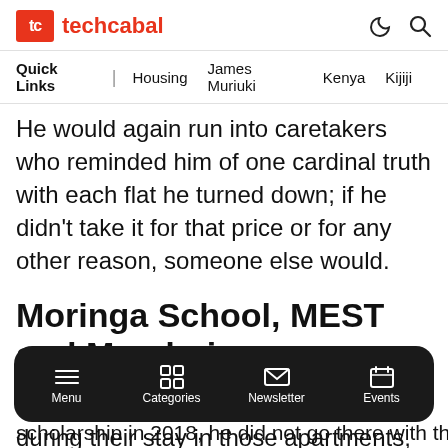techcabal
Quick Links | Housing James Muriuki Kenya Kijiji
He would again run into caretakers who reminded him of one cardinal truth with each flat he turned down; if he didn't take it for that price or for any other reason, someone else would.
Moringa School, MEST and Mandarin
If you somehow ignore the mishaps during their stay in those apartments, Muriuki says his childhood was pretty sheltered.
Menu  Categories  Newsletter  Events
scholarship in 2018, he did not go there with the